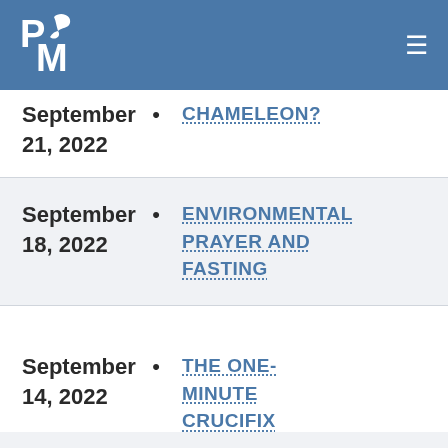PM logo and navigation
September 21, 2022 • CHAMELEON?
September 18, 2022 • ENVIRONMENTAL PRAYER AND FASTING
September 14, 2022 • THE ONE-MINUTE CRUCIFIX NOVENA